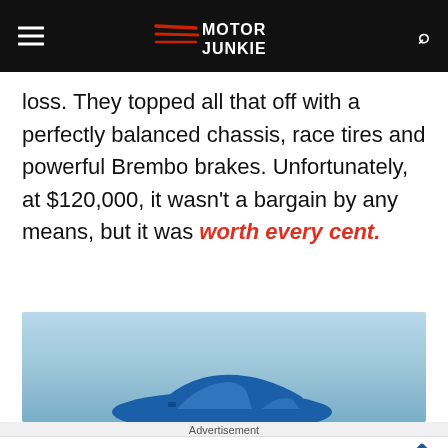Motor Junkie
loss. They topped all that off with a perfectly balanced chassis, race tires and powerful Brembo brakes. Unfortunately, at $120,000, it wasn't a bargain by any means, but it was worth every cent.
[Figure (photo): Blue sports car photographed against a light blue sky, top portion visible]
Advertisement
[Figure (infographic): Walgreens advertisement: Ashburn OPEN 8AM-10PM, 20321 Susan Leslie Dr, Ashburn]